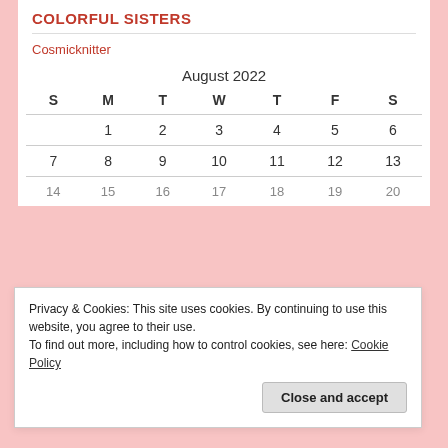COLORFUL SISTERS
Cosmicknitter
| S | M | T | W | T | F | S |
| --- | --- | --- | --- | --- | --- | --- |
|  | 1 | 2 | 3 | 4 | 5 | 6 |
| 7 | 8 | 9 | 10 | 11 | 12 | 13 |
| 14 | 15 | 16 | 17 | 18 | 19 | 20 |
Privacy & Cookies: This site uses cookies. By continuing to use this website, you agree to their use. To find out more, including how to control cookies, see here: Cookie Policy
Close and accept